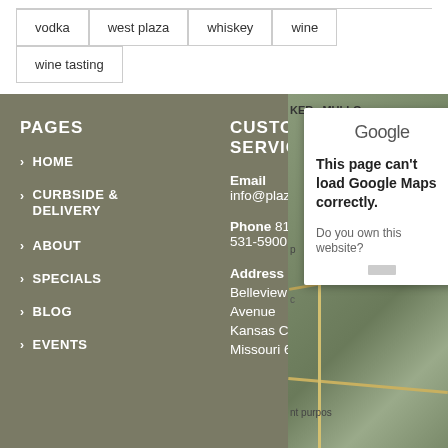vodka
west plaza
whiskey
wine
wine tasting
PAGES
> HOME
> CURBSIDE & DELIVERY
> ABOUT
> SPECIALS
> BLOG
> EVENTS
CUSTOMER SERVICE
Email info@plazaliquorkc.c
Phone 816-531-5900
Address 4500 Belleview Avenue Kansas City Missouri 64111
[Figure (screenshot): Google Maps error dialog saying 'This page can't load Google Maps correctly.' with 'Do you own this website?' text below, overlaid on a partial street map]